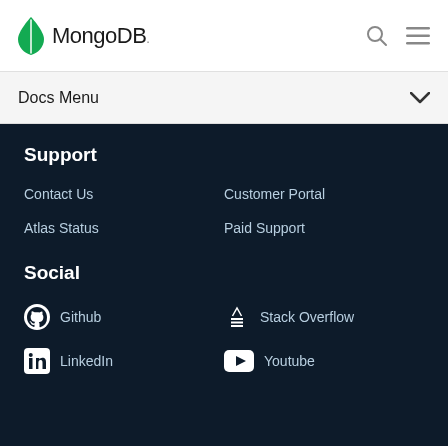MongoDB
Docs Menu
Support
Contact Us
Customer Portal
Atlas Status
Paid Support
Social
Github
Stack Overflow
LinkedIn
Youtube